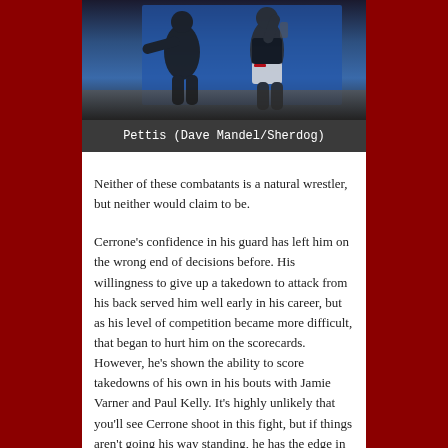[Figure (photo): Photo of Pettis, a fighter, appearing to throw a kick or strike, wearing dark shorts with white trim, in front of a blue background]
Pettis (Dave Mandel/Sherdog)
Neither of these combatants is a natural wrestler, but neither would claim to be.
Cerrone’s confidence in his guard has left him on the wrong end of decisions before. His willingness to give up a takedown to attack from his back served him well early in his career, but as his level of competition became more difficult, that began to hurt him on the scorecards. However, he’s shown the ability to score takedowns of his own in his bouts with Jamie Varner and Paul Kelly. It’s highly unlikely that you’ll see Cerrone shoot in this fight, but if things aren’t going his way standing, he has the edge in this department.